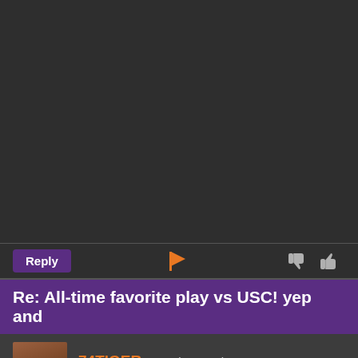[Figure (screenshot): Dark forum interface top section with reply button, flag icon, thumbs down and thumbs up icons]
Re: All-time favorite play vs USC! yep and
74TIGER posted 9 months ago
CU Medallion [58855 pts / 100%]
the brilliance to put the music with it was great. I never knew how they knew to do that. 😉
[Figure (screenshot): Reply button, flag icon, thumbs down and thumbs up icons]
Re: All-time favorite play vs USC!